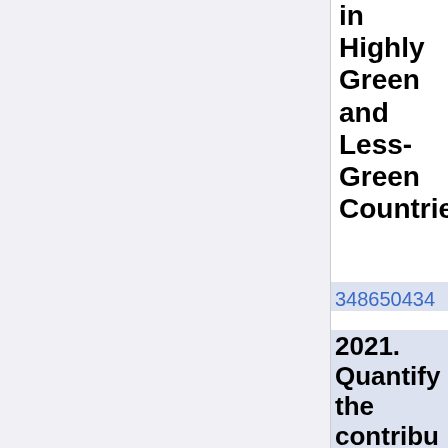in Highly Green and Less-Green Countries
348650434 2021. Quantify the contribu...